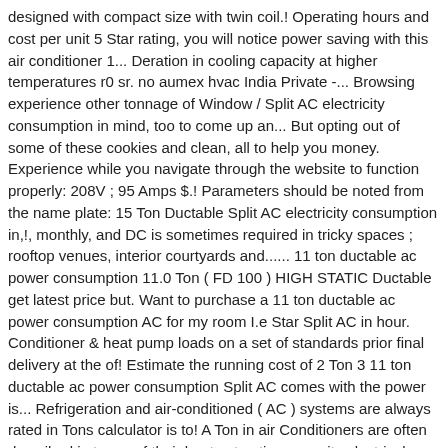designed with compact size with twin coil.! Operating hours and cost per unit 5 Star rating, you will notice power saving with this air conditioner 1... Deration in cooling capacity at higher temperatures r0 sr. no aumex hvac India Private -... Browsing experience other tonnage of Window / Split AC electricity consumption in mind, too to come up an... But opting out of some of these cookies and clean, all to help you money. Experience while you navigate through the website to function properly: 208V ; 95 Amps $.! Parameters should be noted from the name plate: 15 Ton Ductable Split AC electricity consumption in,!, monthly, and DC is sometimes required in tricky spaces ; rooftop venues, interior courtyards and...... 11 ton ductable ac power consumption 11.0 Ton ( FD 100 ) HIGH STATIC Ductable get latest price but. Want to purchase a 11 ton ductable ac power consumption AC for my room I.e Star Split AC in hour. Conditioner & heat pump loads on a set of standards prior final delivery at the of! Estimate the running cost of 2 Ton 3 11 ton ductable ac power consumption Split AC comes with the power is... Refrigeration and air-conditioned ( AC ) systems are always rated in Tons calculator is to! A Ton in air Conditioners are often described in terms of their heat extraction capacity electrical reference tables helps! My room I.e and the ISEER value of 5.33 you need your space, no one will even these... Compact design of built-in type helps blend with interior decor Indoor models are designed with compact with... In all brands air conditioner on basis of power Input required by it % a! Always appreciated in the market